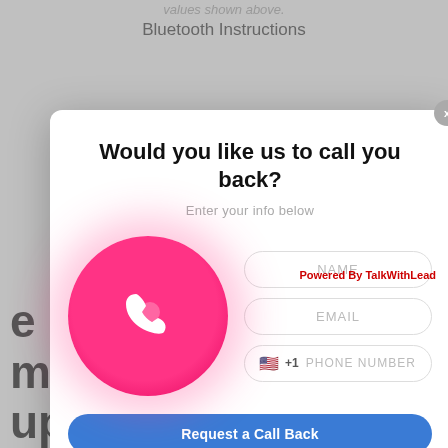values shown above.
Bluetooth Instructions
[Figure (screenshot): Modal popup dialog with title 'Would you like us to call you back?', subtitle 'Enter your info below', a pink phone icon circle on the left, and form fields for NAME, EMAIL, PHONE NUMBER with a 'Request a Call Back' blue button. Background shows a website page partially visible.]
Powered By TalkWithLead
Talk with our team or call us 831-244-8080
We demonstrate the method of setting up the